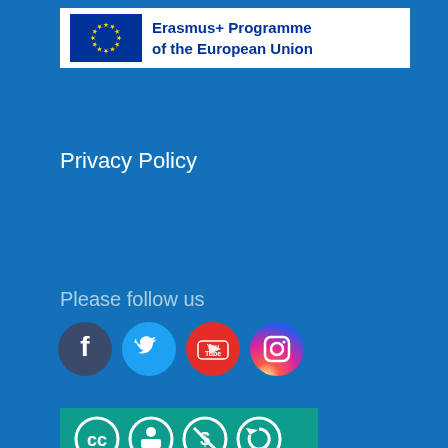[Figure (logo): Erasmus+ Programme of the European Union logo with EU flag stars on blue background and text 'Erasmus+ Programme of the European Union']
Privacy Policy
Please follow us
[Figure (illustration): Social media icons row: Facebook (dark blue circle with 'f'), Twitter (cyan circle with bird), YouTube (red circle with 'You Tube'), Instagram (pink/purple circle with camera)]
[Figure (illustration): Creative Commons license icons: CC, BY, NC (dollar crossed), SA (share-alike) on teal/green background]
Disclaimer
Except where otherwise noted, content